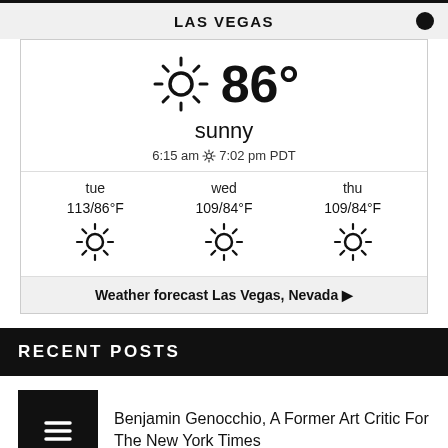LAS VEGAS
[Figure (infographic): Weather widget showing Las Vegas weather: sunny, 86°, sunrise 6:15 am, sunset 7:02 pm PDT. Forecast: tue 113/86°F sunny, wed 109/84°F sunny, thu 109/84°F sunny. Link: Weather forecast Las Vegas, Nevada ▶]
RECENT POSTS
Benjamin Genocchio, A Former Art Critic For The New York Times